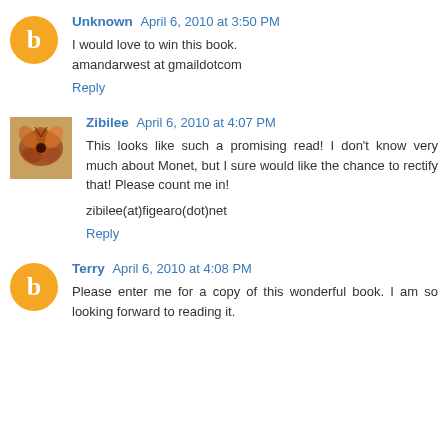Unknown April 6, 2010 at 3:50 PM
I would love to win this book.
amandarwest at gmaildotcom
Reply
Zibilee April 6, 2010 at 4:07 PM
This looks like such a promising read! I don't know very much about Monet, but I sure would like the chance to rectify that! Please count me in!
zibilee(at)figearo(dot)net
Reply
Terry April 6, 2010 at 4:08 PM
Please enter me for a copy of this wonderful book. I am so looking forward to reading it.